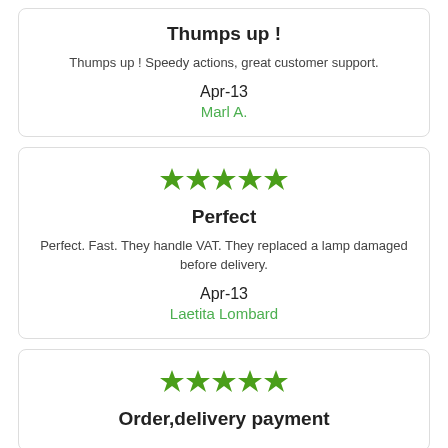Thumps up !
Thumps up ! Speedy actions, great customer support.
Apr-13
Marl A.
[Figure (other): Five green stars rating]
Perfect
Perfect. Fast. They handle VAT. They replaced a lamp damaged before delivery.
Apr-13
Laetita Lombard
[Figure (other): Five green stars rating]
Order,delivery payment